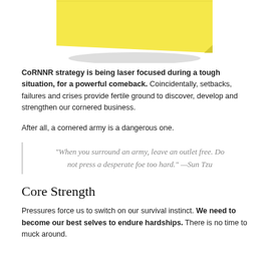[Figure (illustration): Yellow sticky note at the top center of the page with a slight curl and drop shadow]
CoRNNR strategy is being laser focused during a tough situation, for a powerful comeback. Coincidentally, setbacks, failures and crises provide fertile ground to discover, develop and strengthen our cornered business.
After all, a cornered army is a dangerous one.
“When you surround an army, leave an outlet free. Do not press a desperate foe too hard.” —Sun Tzu
Core Strength
Pressures force us to switch on our survival instinct. We need to become our best selves to endure hardships. There is no time to muck around.